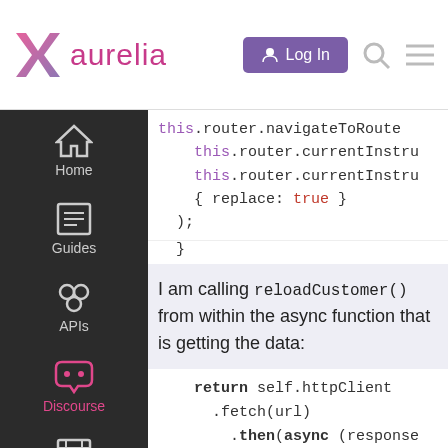aurelia — Log In navigation header
[Figure (screenshot): Aurelia logo with pink/purple X icon and pink 'aurelia' wordmark]
this.router.navigateToRoute
    this.router.currentInstru
    this.router.currentInstru
    { replace: true }
);
I am calling reloadCustomer() from within the async function that is getting the data:
return self.httpClient
.fetch(url)
    .then(async (response
        let aris_idObj = aw
        console.log( 'respo
        this.customerRecord
        await this.getCus
        //console.log( 'c